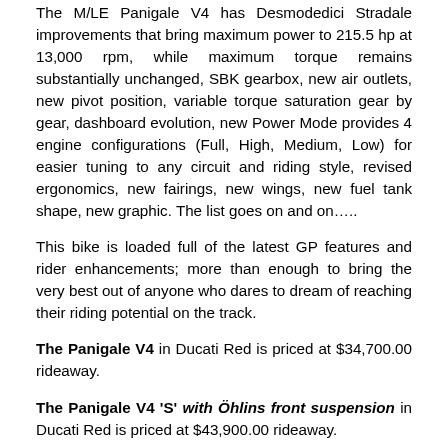The M/LE Panigale V4 has Desmodedici Stradale improvements that bring maximum power to 215.5 hp at 13,000 rpm, while maximum torque remains substantially unchanged, SBK gearbox, new air outlets, new pivot position, variable torque saturation gear by gear, dashboard evolution, new Power Mode provides 4 engine configurations (Full, High, Medium, Low) for easier tuning to any circuit and riding style, revised ergonomics, new fairings, new wings, new fuel tank shape, new graphic. The list goes on and on…..
This bike is loaded full of the latest GP features and rider enhancements; more than enough to bring the very best out of anyone who dares to dream of reaching their riding potential on the track.
The Panigale V4 in Ducati Red is priced at $34,700.00 rideaway.
The Panigale V4 'S' with Öhlins front suspension in Ducati Red is priced at $43,900.00 rideaway.
Don't forget too that Ducati's official warranty extension program Ducati Factory Ever Red is available in addition to the 24 month/unlimited kilometre warranty